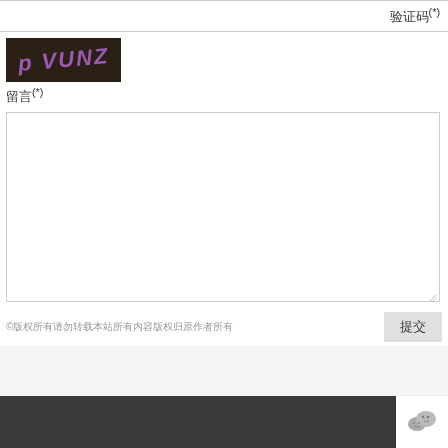验证码(*)
[Figure (illustration): CAPTCHA image with dark brown/black background showing text 'p VUNZ' in purple italic handwriting style]
留言(*)
©版权所有请勿转载本站所有内容版权归原作者所有
提交
粤2020